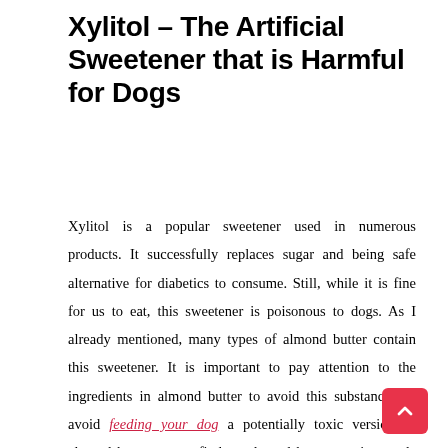Xylitol – The Artificial Sweetener that is Harmful for Dogs
Xylitol is a popular sweetener used in numerous products. It successfully replaces sugar and being safe alternative for diabetics to consume. Still, while it is fine for us to eat, this sweetener is poisonous to dogs. As I already mentioned, many types of almond butter contain this sweetener. It is important to pay attention to the ingredients in almond butter to avoid this substance. To avoid feeding your dog a potentially toxic version of almond butter, try to find an almond butter version made for pets and is for sale at a reputable pet supply store.  Almond butter can be